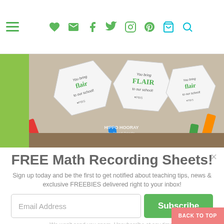Navigation bar with hamburger menu and social icons (heart, email, facebook, twitter, instagram, pinterest, cart, search)
[Figure (photo): A cardboard box containing multiple diamond-shaped gift tags reading 'You bring FLAIR to our school' with paw print graphics and 'PBIS' branding, along with colorful markers. Watermark: HIPPO HOORAY by Brandi Brindle.]
FREE Math Recording Sheets!
Sign up today and be the first to get notified about teaching tips, news & exclusive FREEBIES delivered right to your inbox!
Email Address
Subscribe
We won't send you spam. Unsubscribe at any time.
Powered by ConvertKit
BACK TO TOP